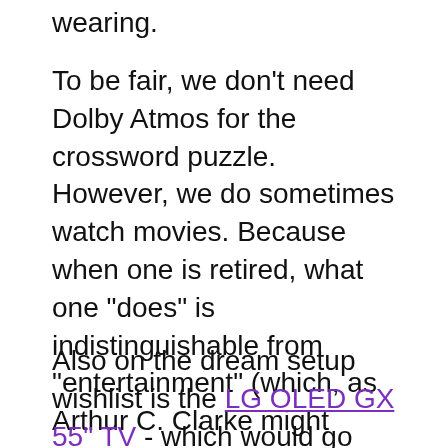wearing.
To be fair, we don't need Dolby Atmos for the crossword puzzle. However, we do sometimes watch movies. Because when one is retired, what one "does" is indistinguishable from "entertainment" (which, as Arthur C. Clarke might have noted - requires a sufficiently advanced level of technology).
Also on the dream setup wishlist is the LG OLED GX 55" TV - which would go over the fireplace. When wall mounted,